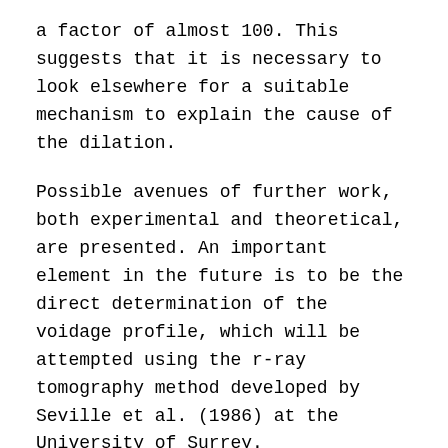a factor of almost 100. This suggests that it is necessary to look elsewhere for a suitable mechanism to explain the cause of the dilation.
Possible avenues of further work, both experimental and theoretical, are presented. An important element in the future is to be the direct determination of the voidage profile, which will be attempted using the r-ray tomography method developed by Seville et al. (1986) at the University of Surrey.
It is hoped to be able to develop a correlation for the flow of fine powders in the near term using the fractional retardation W/Ws. Meanwhile in the absence of any suitable alternatives, Carleton's (1972) correlation can be used to predict the flow of fine powders from orifices greater than 20mm. The